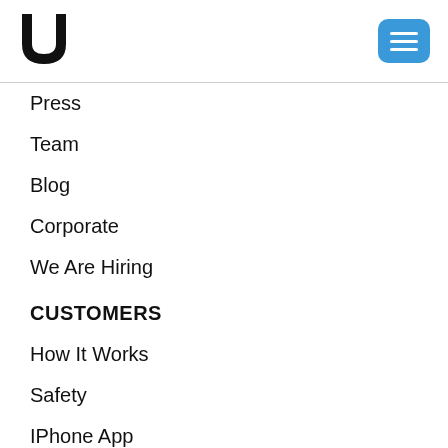[Figure (logo): U-shaped logo mark in black]
[Figure (other): Blue hamburger menu button with three white horizontal lines]
Press
Team
Blog
Corporate
We Are Hiring
CUSTOMERS
How It Works
Safety
IPhone App
Android App
Services Near Me
Cost Estimates